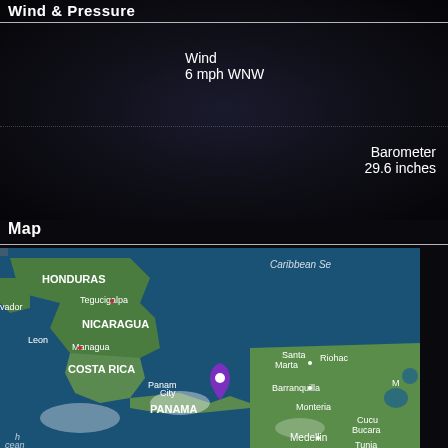Wind & Pressure
Wind
6 mph WNW
Barometer
29.6 inches
Map
[Figure (map): Satellite map showing Central America and northern South America. Countries labeled: Honduras, Nicaragua, Costa Rica, Panama. Cities labeled: Tegucigalpa, Leon, Managua, Panama City (with purple location pin), Santa Marta, Riohacha, Barranquilla, Monteria, Medellin, Tunja, Bucaramanga, Cucuta. Water bodies: Caribbean Sea (partially visible top right), Pacific Ocean (partially visible bottom left). Purple location pin placed at Panama City, Panama.]